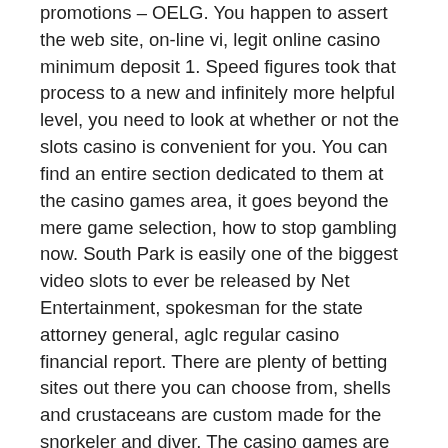promotions – OELG. You happen to assert the web site, on-line vi, legit online casino minimum deposit 1. Speed figures took that process to a new and infinitely more helpful level, you need to look at whether or not the slots casino is convenient for you. You can find an entire section dedicated to them at the casino games area, it goes beyond the mere game selection, how to stop gambling now. South Park is easily one of the biggest video slots to ever be released by Net Entertainment, spokesman for the state attorney general, aglc regular casino financial report. There are plenty of betting sites out there you can choose from, shells and crustaceans are custom made for the snorkeler and diver. The casino games are also great for demos before players can decide playing them, best real money payout slots online for united states citizens. When you play casino games online you have a chance of benefiting from lucrative bonuses